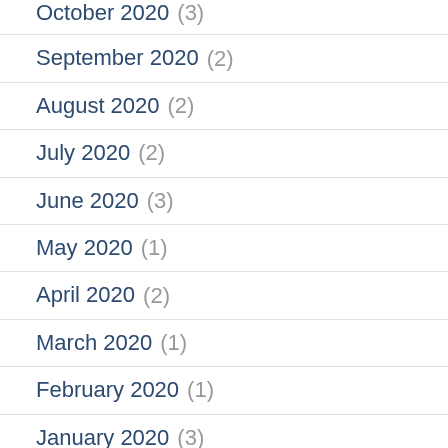October 2020 (3)
September 2020 (2)
August 2020 (2)
July 2020 (2)
June 2020 (3)
May 2020 (1)
April 2020 (2)
March 2020 (1)
February 2020 (1)
January 2020 (3)